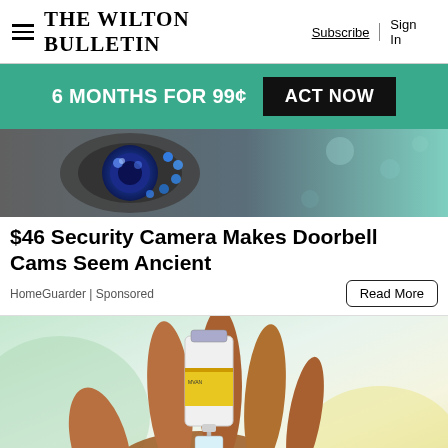The Wilton Bulletin | Subscribe | Sign In
[Figure (infographic): Teal promotional banner: '6 MONTHS FOR 99¢ ACT NOW']
[Figure (photo): Close-up of a blue security camera lens with glowing LED lights, gray and teal background]
$46 Security Camera Makes Doorbell Cams Seem Ancient
HomeGuarder | Sponsored
[Figure (photo): Close-up of a hand holding a vaccine vial and syringe, yellow and green blurred background]